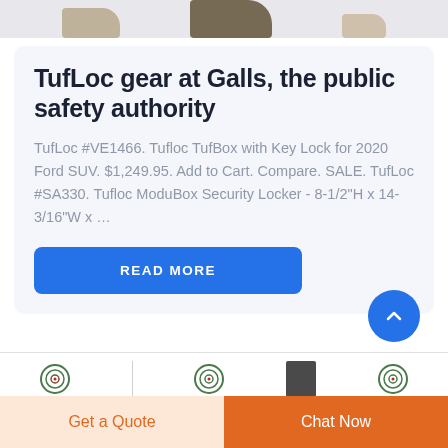[Figure (photo): Product images strip at top showing boots/footwear silhouettes]
TufLoc gear at Galls, the public safety authority
TufLoc #VE1466. Tufloc TufBox with Key Lock for 2020 Ford SUV. $1,249.95. Add to Cart. Compare. SALE. TufLoc #SA330. Tufloc ModuBox Security Locker - 8-1/2"H x 14-3/16"W x ...
READ MORE
[Figure (photo): Bottom thumbnail product icons row with target/scope icons and a black product]
Get a Quote
Chat Now